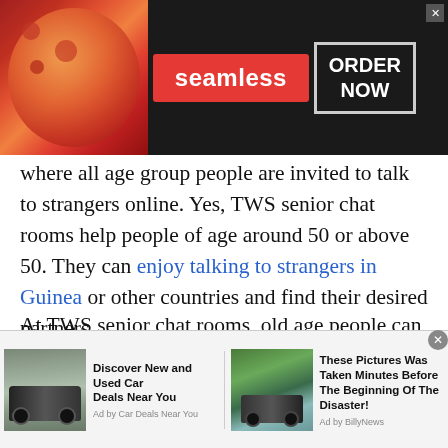[Figure (screenshot): Seamless food delivery advertisement banner with pizza image on left, red Seamless logo in center, and ORDER NOW button on right with dark background]
where all age group people are invited to talk to strangers online. Yes, TWS senior chat rooms help people of age around 50 or above 50. They can enjoy talking to strangers in Guinea or other countries and find their desired partners.
At TWS senior chat rooms, old age people can surely find the same age group partners to whom they can share their interests. Isn't it so convenient for seniors to spend their time full of fun and joy? Well, for sure, it is convenient as when no one is
[Figure (screenshot): Bottom advertisement bar with two ad items: 'Discover New and Used Car Deals Near You' by Car Deals Near You with SUV image, and 'These Pictures Was Taken Minutes Before The Beginning Of The Disaster!' by BillyNews with river/car image]